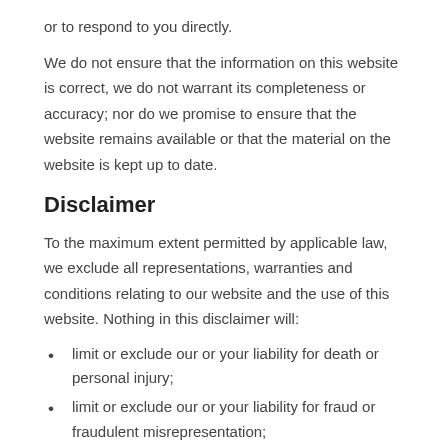or to respond to you directly.
We do not ensure that the information on this website is correct, we do not warrant its completeness or accuracy; nor do we promise to ensure that the website remains available or that the material on the website is kept up to date.
Disclaimer
To the maximum extent permitted by applicable law, we exclude all representations, warranties and conditions relating to our website and the use of this website. Nothing in this disclaimer will:
limit or exclude our or your liability for death or personal injury;
limit or exclude our or your liability for fraud or fraudulent misrepresentation;
limit any of our or your liabilities in any way that is not permitted under applicable law; or